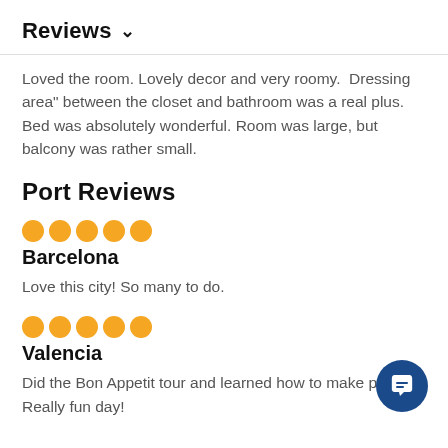Reviews ∨
Loved the room. Lovely decor and very roomy.  Dressing area" between the closet and bathroom was a real plus. Bed was absolutely wonderful. Room was large, but balcony was rather small.
Port Reviews
[Figure (other): 5 filled orange/yellow circles representing a 5-star rating]
Barcelona
Love this city! So many to do.
[Figure (other): 5 filled orange/yellow circles representing a 5-star rating]
Valencia
Did the Bon Appetit tour and learned how to make paella. Really fun day!